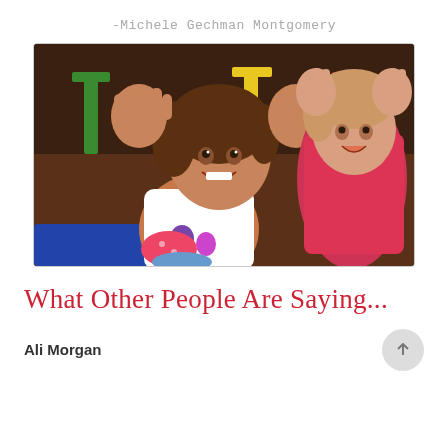-Michele Gechman Montgomery
[Figure (photo): Two young children (toddlers) sitting on the floor in a classroom, smiling with hands raised up showing their palms. Colorful chairs visible in background. Child in foreground wears white top, child in background wears pink/red top.]
What Other People Are Saying...
Ali Morgan